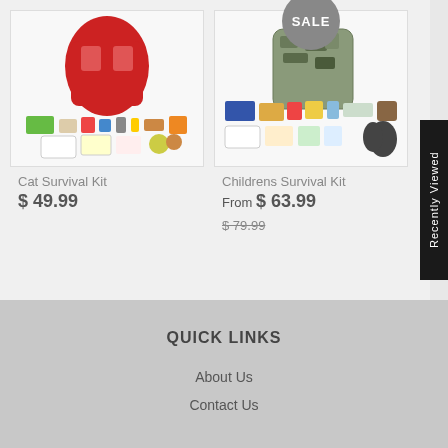[Figure (photo): Cat Survival Kit product image showing a red backpack with survival supplies laid out]
Cat Survival Kit
$ 49.99
[Figure (photo): Childrens Survival Kit product image showing a camouflage backpack with survival supplies laid out, with SALE badge]
Childrens Survival Kit
From $ 63.99
$ 79.99
QUICK LINKS
About Us
Contact Us